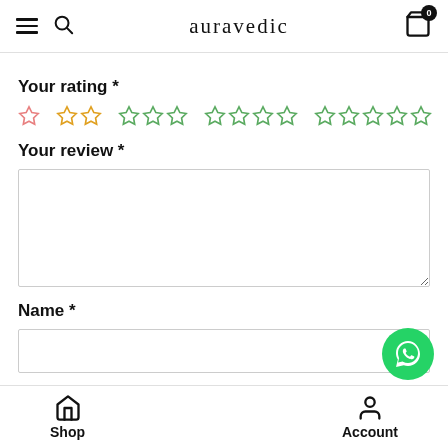auravedic
Your rating *
[Figure (other): Star rating selector with 5 groups: 1 star, 2 stars, 3 stars, 4 stars, 5 stars, all shown as empty/outline stars in orange and green]
Your review *
Name *
Email *
Shop   Account